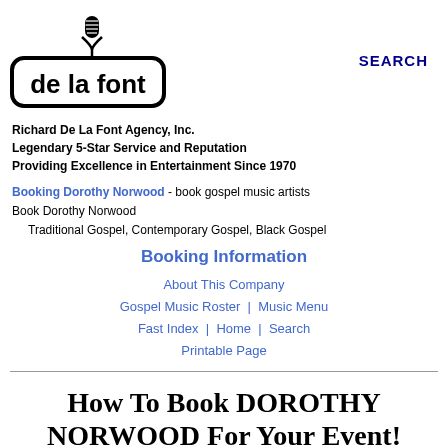[Figure (logo): De La Font agency logo with microphone icon above rounded rectangle containing 'de la font' text]
SEARCH
Richard De La Font Agency, Inc.
Legendary 5-Star Service and Reputation
Providing Excellence in Entertainment Since 1970
Booking Dorothy Norwood - book gospel music artists
Book Dorothy Norwood
    Traditional Gospel, Contemporary Gospel, Black Gospel
Booking Information
About This Company
Gospel Music Roster | Music Menu
Fast Index | Home | Search
Printable Page
How To Book DOROTHY NORWOOD For Your Event!
Dorothy Norwood may be available for your next special event!